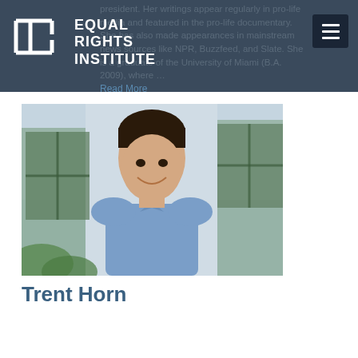Equal Rights Institute — navigation header with logo
president. Her writings appear regularly in pro-life media and featured in the pro-life documentary. She has also made appearances in mainstream news sources like NPR, Buzzfeed, and Slate. She is a graduate of the University of Miami (B.A. 2009), where … Read More
[Figure (photo): Headshot photo of Trent Horn, a man with short dark hair wearing a blue collared shirt, smiling, with a green window/building in the background]
Trent Horn